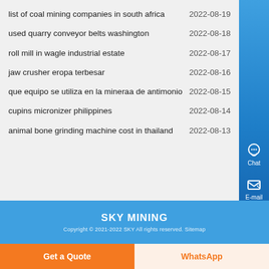list of coal mining companies in south africa  2022-08-19
used quarry conveyor belts washington  2022-08-18
roll mill in wagle industrial estate  2022-08-17
jaw crusher eropa terbesar  2022-08-16
que equipo se utiliza en la mineraa de antimonio  2022-08-15
cupins micronizer philippines  2022-08-14
animal bone grinding machine cost in thailand  2022-08-13
SKY MINING
Copyright © 2021-2022 SKY All rights reserved. Sitemap
Get a Quote
WhatsApp